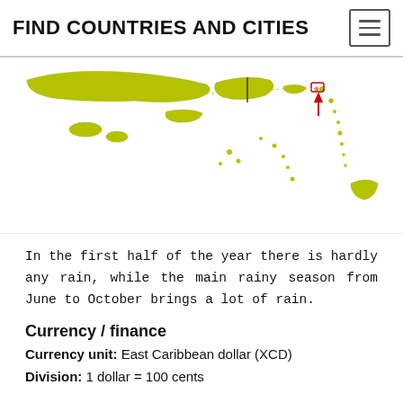FIND COUNTRIES AND CITIES
[Figure (map): Map of the Caribbean region showing island countries in olive/yellow-green color, with a red arrow/pin marker indicating a specific location in the eastern Caribbean island chain.]
In the first half of the year there is hardly any rain, while the main rainy season from June to October brings a lot of rain.
Currency / finance
Currency unit: East Caribbean dollar (XCD)
Division: 1 dollar = 100 cents